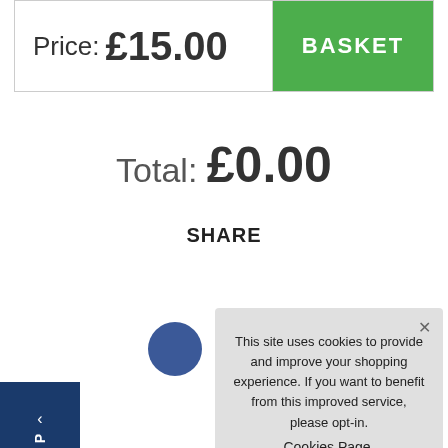Price: £15.00
BASKET
Total: £0.00
SHARE
[Figure (screenshot): Cookie consent overlay dialog with text: This site uses cookies to provide and improve your shopping experience. If you want to benefit from this improved service, please opt-in. Cookies Page. I opt-in to a better browsing experience. ACCEPT COOKIES button.]
This site uses cookies to provide and improve your shopping experience. If you want to benefit from this improved service, please opt-in. Cookies Page. I opt-in to a better browsing experience
ACCEPT COOKIES